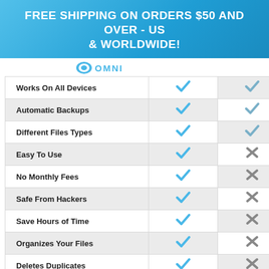FREE SHIPPING ON ORDERS $50 AND OVER - US & WORLDWIDE!
[Figure (logo): OMNI logo partially visible]
| Feature | OMNI | Other |
| --- | --- | --- |
| Works On All Devices | ✓ | ✓ |
| Automatic Backups | ✓ | ✓ |
| Different Files Types | ✓ | ✓ |
| Easy To Use | ✓ | ✗ |
| No Monthly Fees | ✓ | ✗ |
| Safe From Hackers | ✓ | ✗ |
| Save Hours of Time | ✓ | ✗ |
| Organizes Your Files | ✓ | ✗ |
| Deletes Duplicates | ✓ | ✗ |
Bottom Line: If You'd Like To Keep All Your Photo & Video Memories Sa...
[Figure (logo): TrustedSite Certified Secure badge]